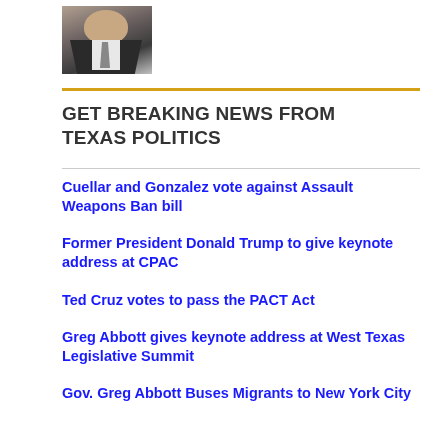[Figure (photo): Photo of a man in a dark suit and tie]
GET BREAKING NEWS FROM TEXAS POLITICS
Cuellar and Gonzalez vote against Assault Weapons Ban bill
Former President Donald Trump to give keynote address at CPAC
Ted Cruz votes to pass the PACT Act
Greg Abbott gives keynote address at West Texas Legislative Summit
Gov. Greg Abbott Buses Migrants to New York City